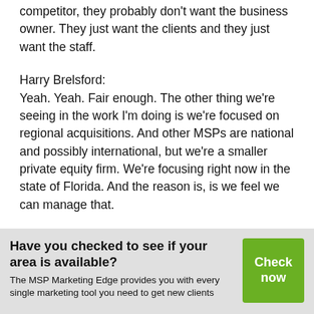competitor, they probably don't want the business owner. They just want the clients and they just want the staff.
Harry Brelsford:
Yeah. Yeah. Fair enough. The other thing we're seeing in the work I'm doing is we're focused on regional acquisitions. And other MSPs are national and possibly international, but we're a smaller private equity firm. We're focusing right now in the state of Florida. And the reason is, is we feel we can manage that.
Have you checked to see if your area is available?
The MSP Marketing Edge provides you with every single marketing tool you need to get new clients
Check now